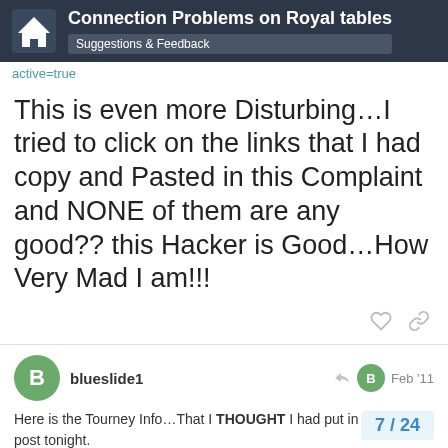Connection Problems on Royal tables — Suggestions & Feedback
active=true
This is even more Disturbing…I tried to click on the links that I had copy and Pasted in this Complaint and NONE of them are any good?? this Hacker is Good…How Very Mad I am!!!
blueslide1 — Feb '11
Here is the Tourney Info…That I THOUGHT I had put in my Original post tonight.
http://www.replaypoker.com/mtt_details/inc
7 / 24